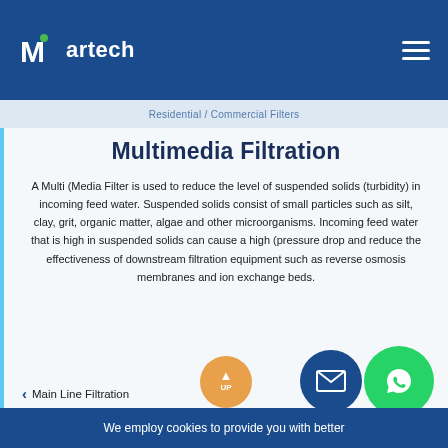Martech
Residential / Commercial Filters
Multimedia Filtration
A Multi (Media Filter is used to reduce the level of suspended solids (turbidity) in incoming feed water. Suspended solids consist of small particles such as silt, clay, grit, organic matter, algae and other microorganisms. Incoming feed water that is high in suspended solids can cause a high (pressure drop and reduce the effectiveness of downstream filtration equipment such as reverse osmosis membranes and ion exchange beds.
Main Line Filtration
We employ cookies to provide you with better